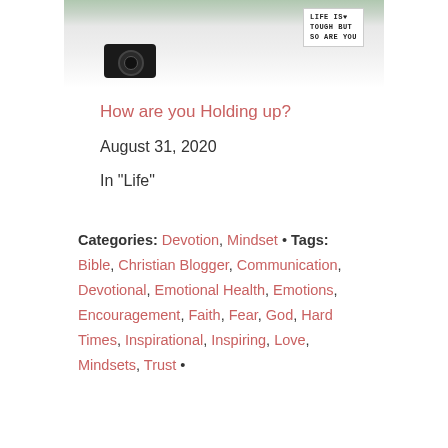[Figure (photo): Photo of a camera and a lightbox sign reading 'LIFE IS♥ TOUGH BUT SO ARE YOU' on a white surface with a small plant in the background]
How are you Holding up?
August 31, 2020
In "Life"
Categories: Devotion, Mindset • Tags: Bible, Christian Blogger, Communication, Devotional, Emotional Health, Emotions, Encouragement, Faith, Fear, God, Hard Times, Inspirational, Inspiring, Love, Mindsets, Trust •